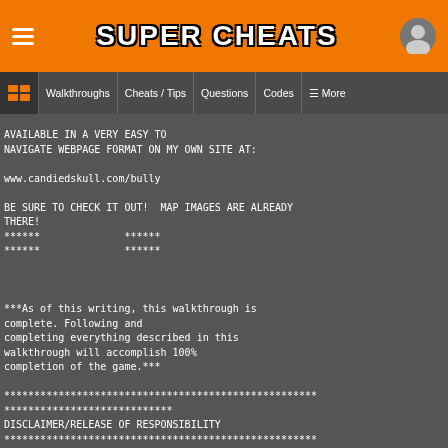SUPER CHEATS
Walkthroughs | Cheats / Tips | Questions | Codes | More
AVAILABLE IN A VERY EASY TO NAVIGATE WEBPAGE FORMAT ON MY OWN SITE AT:

www.candiedskull.com/bully

BE SURE TO CHECK IT OUT!  MAP IMAGES ARE ALREADY THERE!
****** 	 ****** 
****** 	 ******


***As of this writing, this walkthrough is complete. Following and completing everything described in this walkthrough will accomplish 100% completion of the game.***

*****************************************************
****************************
DISCLAIMER/RELEASE OF RESPONSIBILITY
*****************************************************
****************************